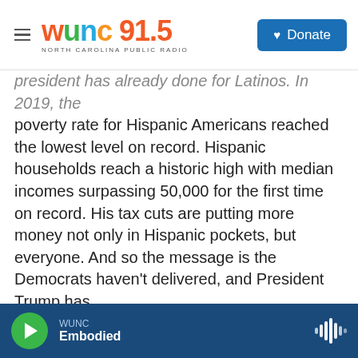WUNC 91.5 NORTH CAROLINA PUBLIC RADIO | Donate
president has already done for Latinos. In 2019, the poverty rate for Hispanic Americans reached the lowest level on record. Hispanic households reach a historic high with median incomes surpassing 50,000 for the first time on record. His tax cuts are putting more money not only in Hispanic pockets, but everyone. And so the message is the Democrats haven't delivered, and President Trump has.
GARCIA-NAVARRO: A new poll shows Biden leads among Latinos in Nevada 56 to 32. But this is all about the margins, as you know. I'll quote John Ralston here, editor of the Nevada Independent. He
WUNC Embodied